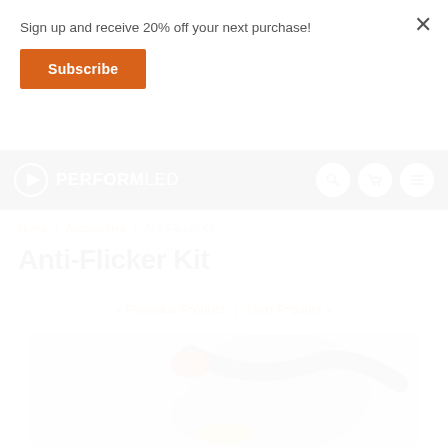Sign up and receive 20% off your next purchase!
Subscribe
PERFORMLED
Home / Accessories / Anti-Flicker Kit
Anti-Flicker Kit
« Previous Product | Next Product »
[Figure (photo): Blurred close-up photo of Anti-Flicker Kit components with orange/red accents on grey background]